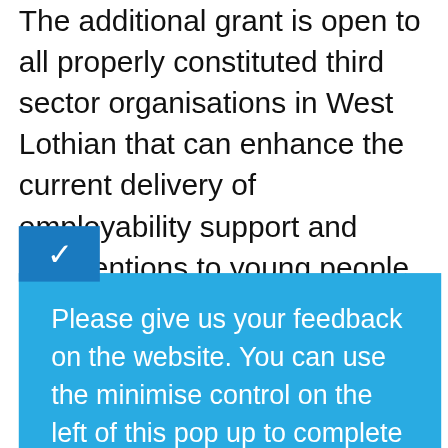The additional grant is open to all properly constituted third sector organisations in West Lothian that can enhance the current delivery of employability support and interventions to young people aged 16 - 24. Provision must complement existing provision or provide
[Figure (screenshot): Blue minimize button with white chevron/down arrow, overlapping the background text]
Please give us your feedback on the website. You can use the minimise control on the left of this pop up to complete the survey later in your visit.
Complete Survey
No Thanks